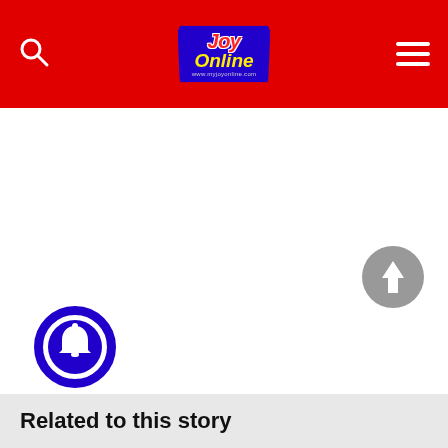Joy Online
[Figure (screenshot): Large white/blank content area (advertisement or empty content block)]
[Figure (other): Blue circular bell/notification icon button]
[Figure (other): Gray circular scroll-to-top arrow button]
Related to this story